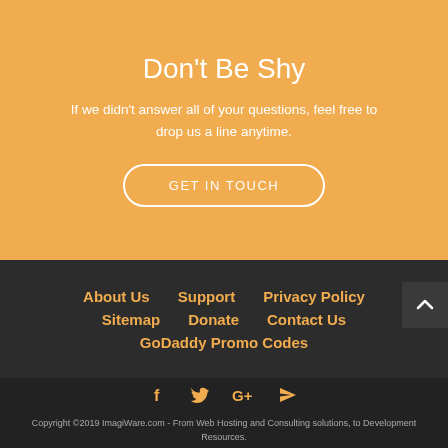Don't Be Shy
If we didn't answer all of your questions, feel free to drop us a line anytime.
GET IN TOUCH
About Us
Support
Privacy Policy
Sitemap
Donate
Contact Us
GoDaddy Promo Codes
[Figure (infographic): Social media icons: Facebook, Twitter, Google+, RSS feed]
Copyright ©2019 ImagiWare.com - From Web Hosting and Consulting solutions, to Development Resources.